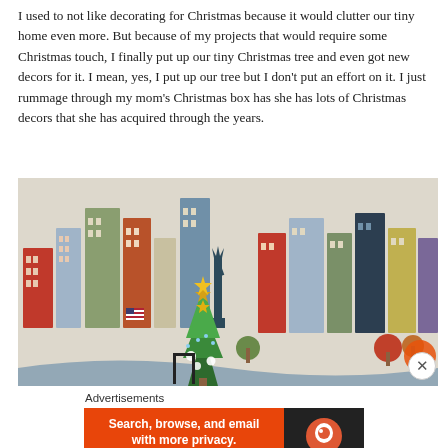I used to not like decorating for Christmas because it would clutter our tiny home even more. But because of my projects that would require some Christmas touch, I finally put up our tiny Christmas tree and even got new decors for it. I mean, yes, I put up our tree but I don't put an effort on it. I just rummage through my mom's Christmas box has she has lots of Christmas decors that she has acquired through the years.
[Figure (photo): A small Christmas tree decorated with gold star toppers and white ornaments, placed in front of a colorful city-scene wallpaper featuring illustrated buildings, trees, and a Statue of Liberty silhouette in various colors.]
Advertisements
[Figure (screenshot): DuckDuckGo advertisement banner with orange background. Text reads: 'Search, browse, and email with more privacy.' Sub-text: 'All in One Free App'. Right side shows DuckDuckGo logo on dark background.]